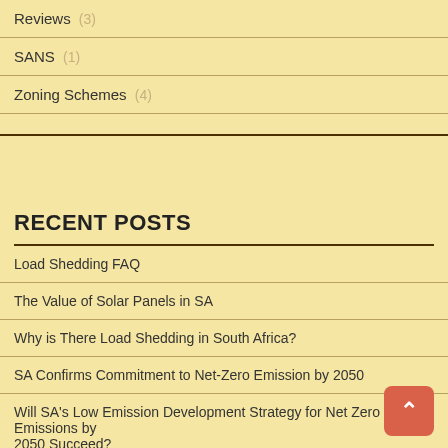Reviews (3)
SANS (1)
Zoning Schemes (4)
RECENT POSTS
Load Shedding FAQ
The Value of Solar Panels in SA
Why is There Load Shedding in South Africa?
SA Confirms Commitment to Net-Zero Emission by 2050
Will SA's Low Emission Development Strategy for Net Zero Emissions by 2050 Succeed?